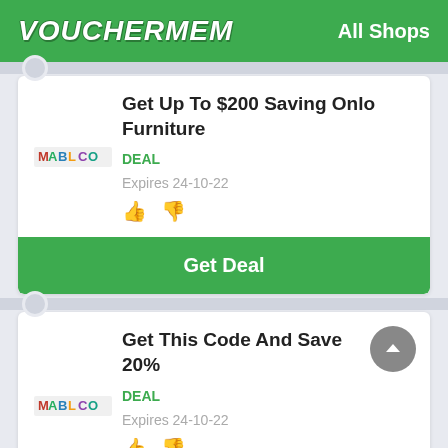VOUCHERMEM   All Shops
Get Up To $200 Saving Onlo Furniture
DEAL
Expires 24-10-22
[Figure (logo): Mablo store logo]
Get Deal
Get This Code And Save 20%
DEAL
Expires 24-10-22
[Figure (logo): Mablo store logo]